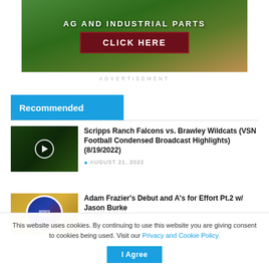[Figure (illustration): Advertisement banner with green field background, white bold text 'AG AND INDUSTRIAL PARTS' and a dark red 'CLICK HERE' button]
ADVERTISEMENT
Recommended
[Figure (photo): Video thumbnail showing a football field aerial view with a play button overlay]
Scripps Ranch Falcons vs. Brawley Wildcats (VSN Football Condensed Broadcast Highlights) (8/19/2022)
AUGUST 21, 2022
[Figure (photo): Thumbnail showing a sports badge/logo on a wood-grain background]
Adam Frazier's Debut and A's for Effort Pt.2 w/ Jason Burke
This website uses cookies. By continuing to use this website you are giving consent to cookies being used. Visit our Privacy and Cookie Policy.
I Agree